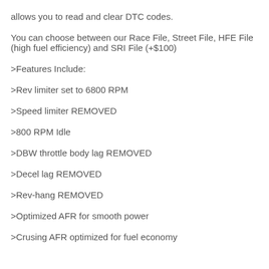allows you to read and clear DTC codes.
You can choose between our Race File, Street File, HFE File (high fuel efficiency) and SRI File (+$100)
>Features Include:
>Rev limiter set to 6800 RPM
>Speed limiter REMOVED
>800 RPM Idle
>DBW throttle body lag REMOVED
>Decel lag REMOVED
>Rev-hang REMOVED
>Optimized AFR for smooth power
>Crusing AFR optimized for fuel economy